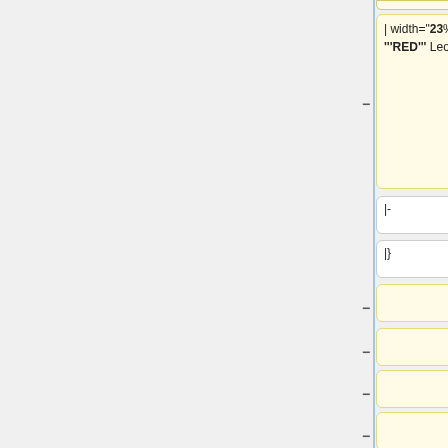[Figure (screenshot): Diff view showing two columns of wiki markup cells. Left column (yellow) contains: '| width="23%" | '''RED''' Leon II'. Right column (blue) contains: '| width="25%" | &nbsp; [[Media:HWhiteTrans6.pdf|Letter 6 (text)]]'. Below are rows with '|-', '|}', empty cells (yellow/blue), '</blockquote>' (blue), more empty yellow cells, and empty white cells at bottom with '<br>' text.]